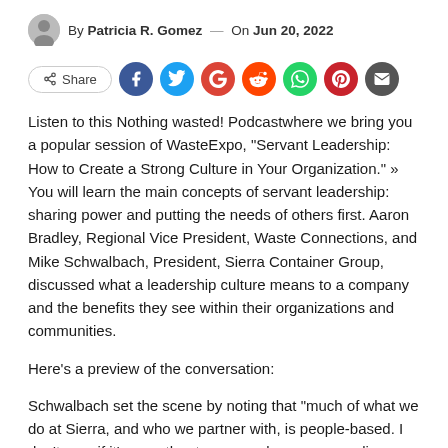By Patricia R. Gomez — On Jun 20, 2022
[Figure (other): Share button and social media icon circles: Facebook, Twitter, Google, Reddit, WhatsApp, Pinterest, Email]
Listen to this Nothing wasted! Podcastwhere we bring you a popular session of WasteExpo, “Servant Leadership: How to Create a Strong Culture in Your Organization.” » You will learn the main concepts of servant leadership: sharing power and putting the needs of others first. Aaron Bradley, Regional Vice President, Waste Connections, and Mike Schwalbach, President, Sierra Container Group, discussed what a leadership culture means to a company and the benefits they see within their organizations and communities.
Here’s a preview of the conversation:
Schwalbach set the scene by noting that “much of what we do at Sierra, and who we partner with, is people-based. I don’t care if it’s our other team members, our suppliers, our customers; it’s